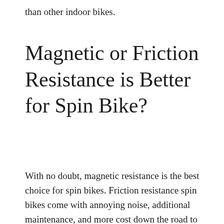than other indoor bikes.
Magnetic or Friction Resistance is Better for Spin Bike?
With no doubt, magnetic resistance is the best choice for spin bikes. Friction resistance spin bikes come with annoying noise, additional maintenance, and more cost down the road to